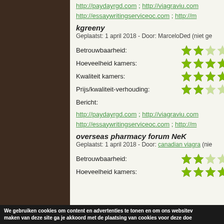http://paydayrgd.com ; http://viagraviu.com http://essaywritingserviceoc.com ; http://m
kgreeny
Geplaatst: 1 april 2018 - Door: MarceloDed (niet ge
Betrouwbaarheid:
Hoeveelheid kamers:
Kwaliteit kamers:
Prijs/kwaliteit-verhouding:
Bericht:
http://paydayrgd.com ; http://viagraviu.com http://essaywritingserviceoc.com ; http://m
overseas pharmacy forum NeK
Geplaatst: 1 april 2018 - Door: canadian viagra (nie
Betrouwbaarheid:
Hoeveelheid kamers:
We gebruiken cookies om content en advertenties te tonen en om ons websitev maken van deze site ga je akkoord met de plaatsing van cookies voor deze doe